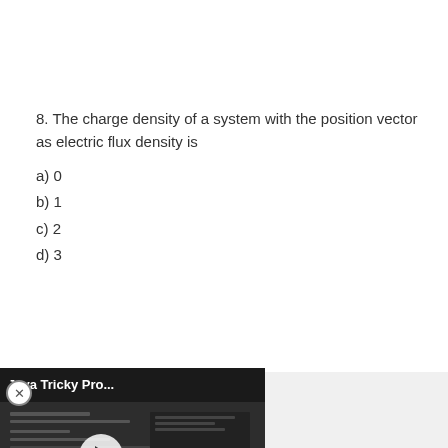8. The charge density of a system with the position vector as electric flux density is
a) 0
b) 1
c) 2
d) 3
[Figure (screenshot): Video overlay showing 'Java Tricky Pro...' with a play button on a dark thumbnail of a coding screen]
E when charge density is given
c) E-H-pv
d) E-V-pv